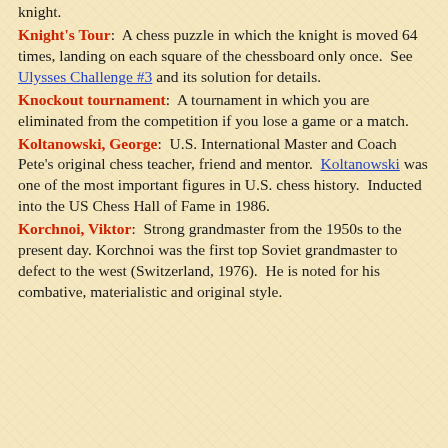knight.
Knight's Tour:  A chess puzzle in which the knight is moved 64 times, landing on each square of the chessboard only once.  See Ulysses Challenge #3 and its solution for details.
Knockout tournament:  A tournament in which you are eliminated from the competition if you lose a game or a match.
Koltanowski, George:  U.S. International Master and Coach Pete's original chess teacher, friend and mentor.  Koltanowski was one of the most important figures in U.S. chess history.  Inducted into the US Chess Hall of Fame in 1986.
Korchnoi, Viktor:  Strong grandmaster from the 1950s to the present day.  Korchnoi was the first top Soviet grandmaster to defect to the west (Switzerland, 1976).  He is noted for his combative, materialistic and original style.